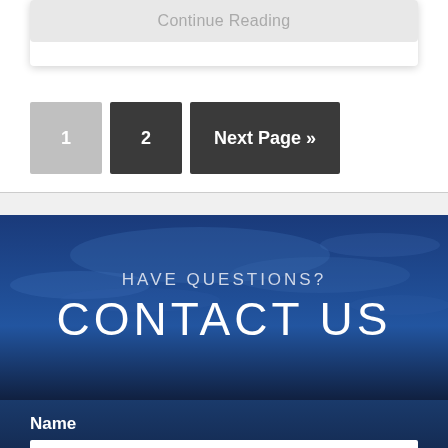Continue Reading
1
2
Next Page »
HAVE QUESTIONS?
CONTACT US
Name
FIRST NAME